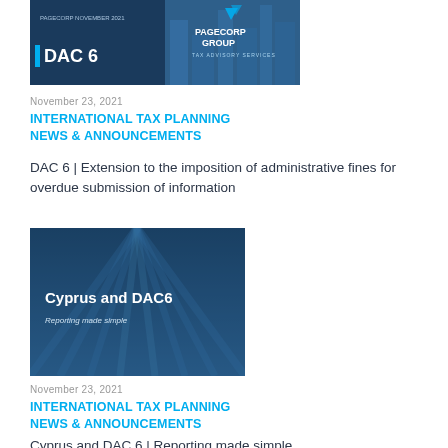[Figure (illustration): Document thumbnail showing DAC 6 branding with dark blue background on left side with '| DAC 6' text and PAGECORP GROUP logo on right side with building imagery]
November 23, 2021
INTERNATIONAL TAX PLANNING NEWS & ANNOUNCEMENTS
DAC 6 | Extension to the imposition of administrative fines for overdue submission of information
[Figure (illustration): Document thumbnail showing Cyprus and DAC6 presentation cover with blue-tinted skyscraper buildings viewed from below, white text reading 'Cyprus and DAC6' and subtitle 'Reporting made simple']
November 23, 2021
INTERNATIONAL TAX PLANNING NEWS & ANNOUNCEMENTS
Cyprus and DAC 6 | Reporting made simple